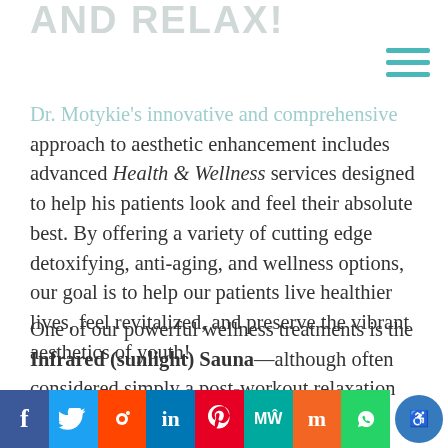AND RELAX!
Dr. Motykie's innovative and comprehensive approach to aesthetic enhancement includes advanced Health & Wellness services designed to help his patients look and feel their absolute best. By offering a variety of cutting edge detoxifying, anti-aging, and wellness options, our goal is to help our patients live healthier lives, feel revitalized, and preserve the vibrant aesthetics of youth!
One of our powerful wellness treatments is the Infrared (sunlight) Sauna—although often considered simply a post-workout relaxation